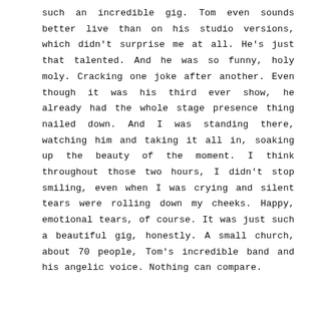such an incredible gig. Tom even sounds better live than on his studio versions, which didn't surprise me at all. He's just that talented. And he was so funny, holy moly. Cracking one joke after another. Even though it was his third ever show, he already had the whole stage presence thing nailed down. And I was standing there, watching him and taking it all in, soaking up the beauty of the moment. I think throughout those two hours, I didn't stop smiling, even when I was crying and silent tears were rolling down my cheeks. Happy, emotional tears, of course. It was just such a beautiful gig, honestly. A small church, about 70 people, Tom's incredible band and his angelic voice. Nothing can compare.